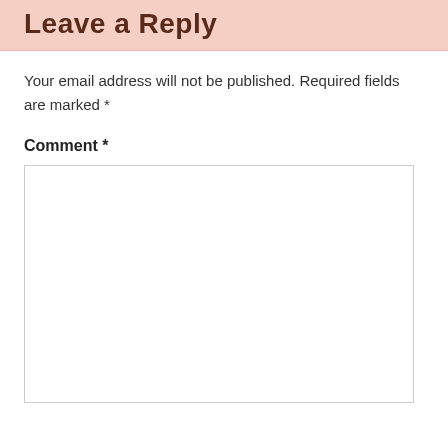Leave a Reply
Your email address will not be published. Required fields are marked *
Comment *
[Figure (other): Empty comment text area input box with light border]